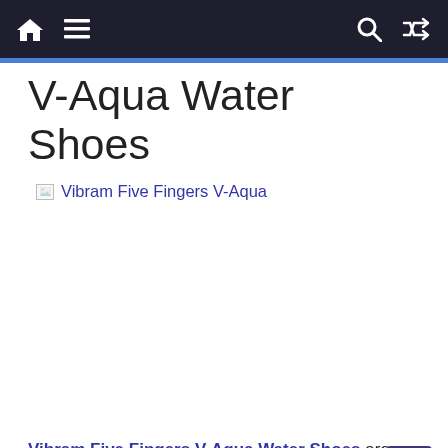Navigation bar with home, menu, search, and shuffle icons
V-Aqua Water Shoes
[Figure (photo): Broken image placeholder for Vibram Five Fingers V-Aqua with link text 'Vibram Five Fingers V-Aqua']
Vibram Five Fingers V-Aqua Water Shoes are great for water crossings because they provide an